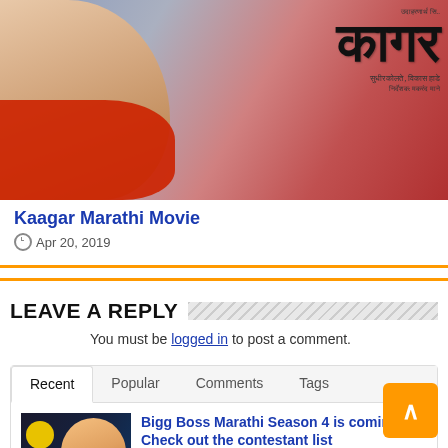[Figure (photo): Kaagar Marathi Movie poster showing a young woman in red scarf with Devanagari script title]
Kaagar Marathi Movie
Apr 20, 2019
LEAVE A REPLY
You must be logged in to post a comment.
Recent  Popular  Comments  Tags
[Figure (photo): Bigg Boss Marathi Season 4 thumbnail with host]
Bigg Boss Marathi Season 4 is coming, Check out the contestant list
1 week ago